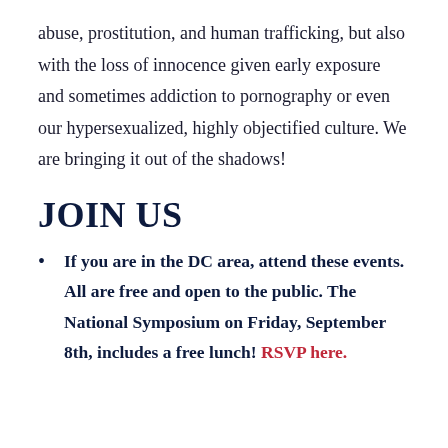abuse, prostitution, and human trafficking, but also with the loss of innocence given early exposure and sometimes addiction to pornography or even our hypersexualized, highly objectified culture. We are bringing it out of the shadows!
JOIN US
If you are in the DC area, attend these events. All are free and open to the public. The National Symposium on Friday, September 8th, includes a free lunch! RSVP here.